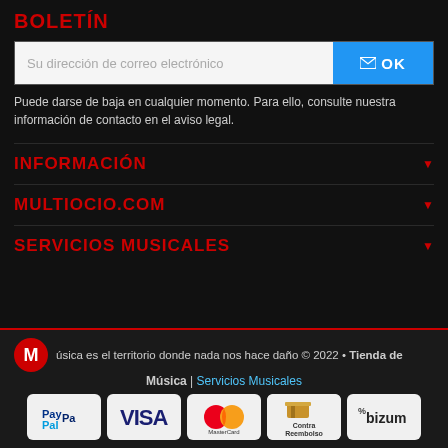BOLETÍN
[Figure (screenshot): Email subscription bar with input field and OK button]
Puede darse de baja en cualquier momento. Para ello, consulte nuestra información de contacto en el aviso legal.
INFORMACIÓN
MULTIOCIO.COM
SERVICIOS MUSICALES
úsica es el territorio donde nada nos hace daño © 2022 • Tienda de Música | Servicios Musicales
[Figure (infographic): Payment method logos: PayPal, VISA, MasterCard, Contra Reembolso, Bizum]